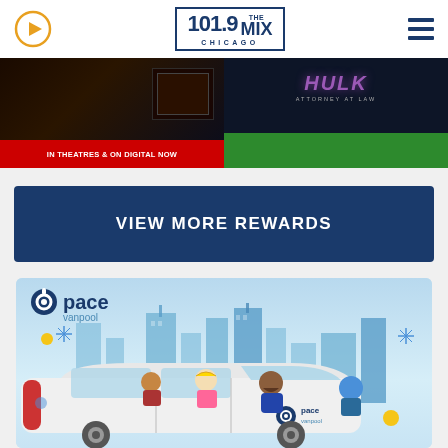101.9 THE MIX CHICAGO
[Figure (screenshot): Movie banner left - IN THEATRES & ON DIGITAL NOW with dark cinematic background]
[Figure (screenshot): She-Hulk Attorney at Law Disney+ promotional banner on green background]
VIEW MORE REWARDS
[Figure (illustration): Pace Vanpool promotional illustration showing cartoon people in a white van against a blue Chicago city skyline background]